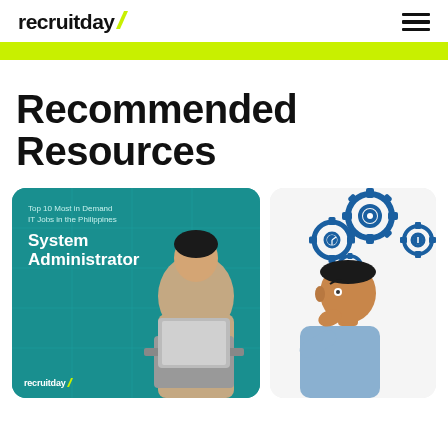recruitday
[Figure (illustration): recruitday logo with yellow tick mark and hamburger menu icon]
Recommended Resources
[Figure (photo): Teal card showing 'Top 10 Most in Demand IT Jobs in the Philippines - System Administrator' with a person holding a laptop, recruitday logo at bottom]
[Figure (illustration): A man thinking with gear/cog icons floating above him representing skills and ideas]